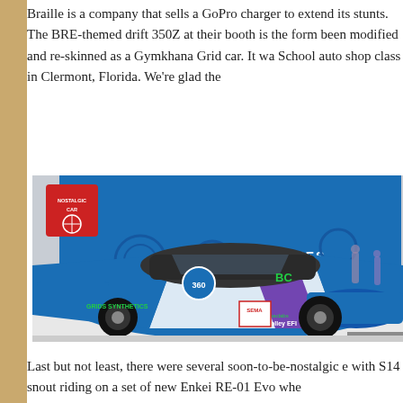Braille is a company that sells a GoPro charger to extend its stunts. The BRE-themed drift 350Z at their booth is the form been modified and re-skinned as a Gymkhana Grid car. It wa School auto shop class in Clermont, Florida. We're glad the
[Figure (photo): A blue, purple and white drift car (Nissan S14/240SX) with sponsor livery including '360' and 'BC' logos, displayed at what appears to be SEMA show with a 'RACING SERIES' backdrop and 'NOSTALGIC CAR' logo badge in the upper left corner.]
Last but not least, there were several soon-to-be-nostalgic e with S14 snout riding on a set of new Enkei RE-01 Evo whe